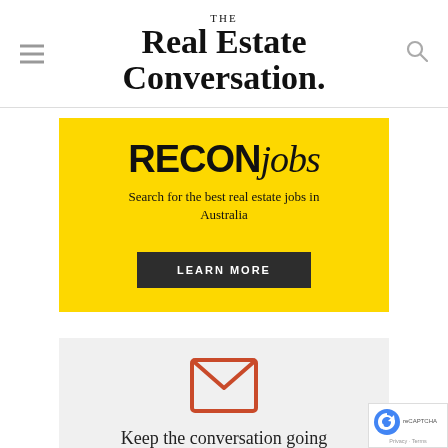THE Real Estate Conversation.
[Figure (infographic): RECONjobs advertisement banner on yellow background with text 'Search for the best real estate jobs in Australia' and a 'LEARN MORE' button]
[Figure (infographic): Grey newsletter signup section with envelope icon and partial text 'Keep the conversation going']
[Figure (other): Google reCAPTCHA badge in lower right corner showing Privacy and Terms links]